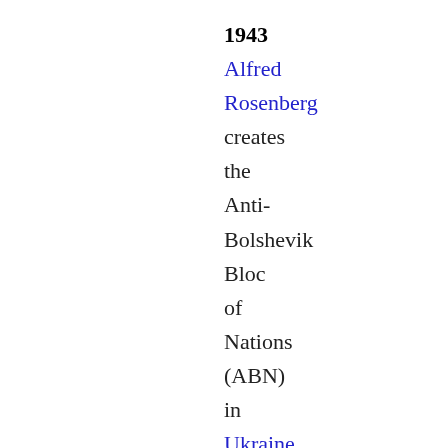1943 Alfred Rosenberg creates the Anti-Bolshevik Bloc of Nations (ABN) in Ukraine, with Yaroslav